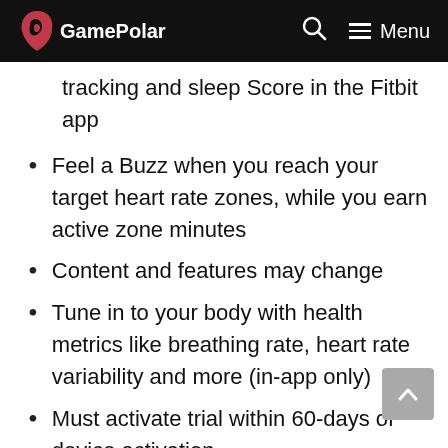GamePolar
tracking and sleep Score in the Fitbit app
Feel a Buzz when you reach your target heart rate zones, while you earn active zone minutes
Content and features may change
Tune in to your body with health metrics like breathing rate, heart rate variability and more (in-app only)
Must activate trial within 60-days of device activation
See how jewelry gets smart with a tracker that doubles as a timeless accessory and features a